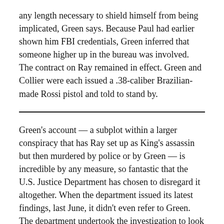any length necessary to shield himself from being implicated, Green says. Because Paul had earlier shown him FBI credentials, Green inferred that someone higher up in the bureau was involved. The contract on Ray remained in effect. Green and Collier were each issued a .38-caliber Brazilian-made Rossi pistol and told to stand by.
Green's account — a subplot within a larger conspiracy that has Ray set up as King's assassin but then murdered by police or by Green — is incredible by any measure, so fantastic that the U.S. Justice Department has chosen to disregard it altogether. When the department issued its latest findings, last June, it didn't even refer to Green. The department undertook the investigation to look into recent allegations regarding the assassination, including Jowers' claims, after being asked by the King family. Essentially, the government has deemed Green an unreliable witness, if not a liar and a fraud. Barry Kowalski, the Justice Department